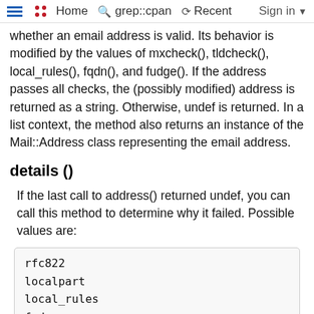Home  grep::cpan  Recent  Sign in
whether an email address is valid. Its behavior is modified by the values of mxcheck(), tldcheck(), local_rules(), fqdn(), and fudge(). If the address passes all checks, the (possibly modified) address is returned as a string. Otherwise, undef is returned. In a list context, the method also returns an instance of the Mail::Address class representing the email address.
details ()
If the last call to address() returned undef, you can call this method to determine why it failed. Possible values are:
rfc822
localpart
local_rules
fqdn